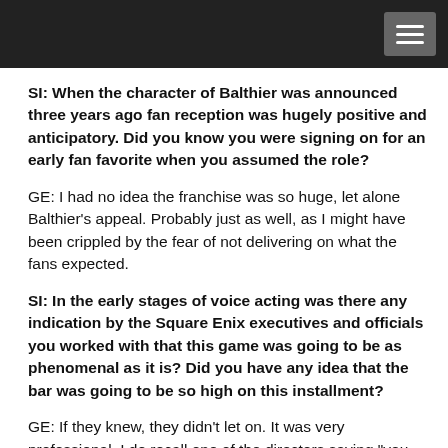SI: When the character of Balthier was announced three years ago fan reception was hugely positive and anticipatory. Did you know you were signing on for an early fan favorite when you assumed the role?
GE: I had no idea the franchise was so huge, let alone Balthier's appeal. Probably just as well, as I might have been crippled by the fear of not delivering on what the fans expected.
SI: In the early stages of voice acting was there any indication by the Square Enix executives and officials you worked with that this game was going to be as phenomenal as it is? Did you have any idea that the bar was going to be so high on this installment?
GE: If they knew, they didn't let on. It was very professional. I do recall one of the directors saying "you might wanna change your email address, 'cos when it's released..." I laughed at the thought, but I'm beginning to see what he meant. Talking about the quality though, the attention to detail in terms of performance, was unlike anything I've encountered. I've worked on-camera and seldom had